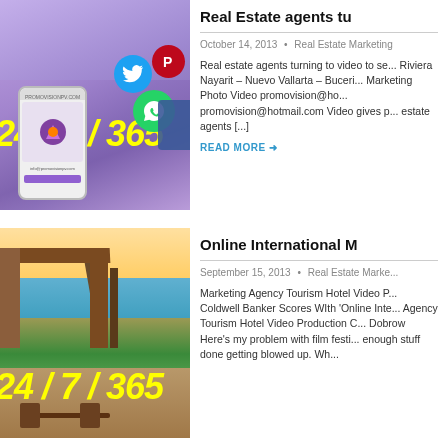[Figure (photo): Photo with social media icons and phone showing promovision.com, yellow text 24/7/365]
Real Estate agents tu
October 14, 2013  •  Real Estate Marketing
Real estate agents turning to video to se... Riviera Nayarit – Nuevo Vallarta – Buceri... Marketing Photo Video promovision@ho... promovision@hotmail.com Video gives p... estate agents [...]
READ MORE →
[Figure (photo): Photo of beach restaurant/bar with palm trees and outdoor seating, yellow text 24/7/365]
Online International M
September 15, 2013  •  Real Estate Marke...
Marketing Agency Tourism Hotel Video P... Coldwell Banker Scores WIth 'Online Inte... Agency Tourism Hotel Video Production C... Dobrow Here's my problem with film festi... enough stuff done getting blowed up. Wh...